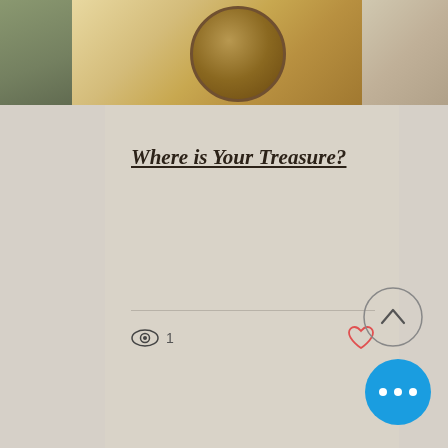[Figure (photo): Top portion of a blog post card showing a vintage compass and map photo]
Where is Your Treasure?
[Figure (other): Carousel dot indicators: 3 dots, first one filled/active in coral-red, other two outlined]
[Figure (other): Scroll-to-top circular button with chevron up arrow]
[Figure (other): Blue circular more/menu button with three dots]